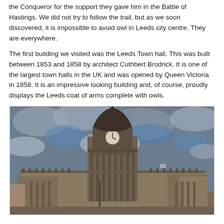the Conqueror for the support they gave him in the Battle of Hastings. We did not try to follow the trail, but as we soon discovered, it is impossible to avoid owl in Leeds city centre. They are everywhere.
The first building we visited was the Leeds Town hall. This was built between 1853 and 1858 by architect Cuthbert Brodrick. It is one of the largest town halls in the UK and was opened by Queen Victoria in 1858. It is an impressive looking building and, of course, proudly displays the Leeds coat of arms complete with owls.
[Figure (photo): Photograph of Leeds Town Hall exterior showing the ornate Victorian classical architecture with a large domed clock tower, columns, and decorative stonework against a dramatic cloudy sky with patches of blue.]